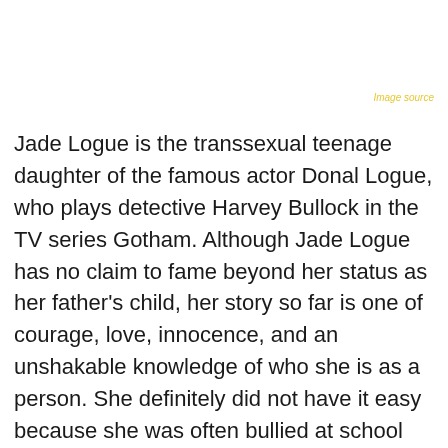Image source
Jade Logue is the transsexual teenage daughter of the famous actor Donal Logue, who plays detective Harvey Bullock in the TV series Gotham. Although Jade Logue has no claim to fame beyond her status as her father's child, her story so far is one of courage, love, innocence, and an unshakable knowledge of who she is as a person. She definitely did not have it easy because she was often bullied at school and had to live in fear of being attacked because she lived her truth at every hour of the day.